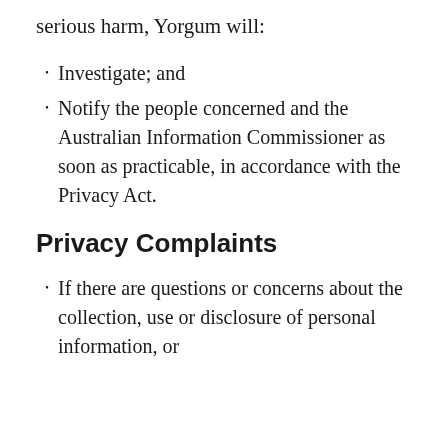serious harm, Yorgum will:
Investigate; and
Notify the people concerned and the Australian Information Commissioner as soon as practicable, in accordance with the Privacy Act.
Privacy Complaints
If there are questions or concerns about the collection, use or disclosure of personal information, or